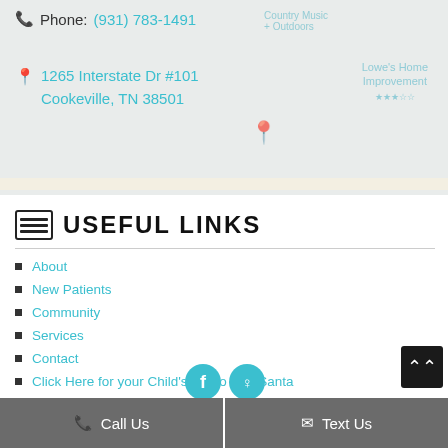Phone: (931) 783-1491
1265 Interstate Dr #101
Cookeville, TN 38501
[Figure (map): Google Maps embedded map showing location near 1265 Interstate Dr #101, Cookeville, TN 38501]
USEFUL LINKS
About
New Patients
Community
Services
Contact
Click Here for your Child's Photo with Santa
Call Us
Text Us